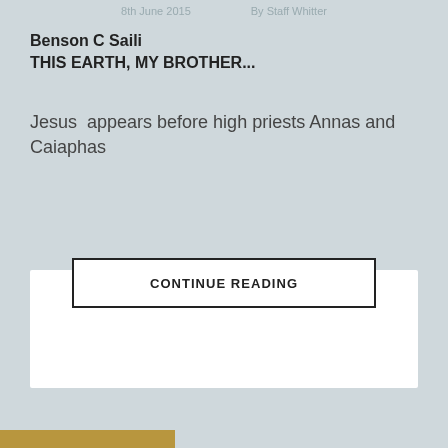8th June 2015  By Staff Whitter
Benson C Saili
THIS EARTH, MY BROTHER...
Jesus  appears before high priests Annas and Caiaphas
CONTINUE READING